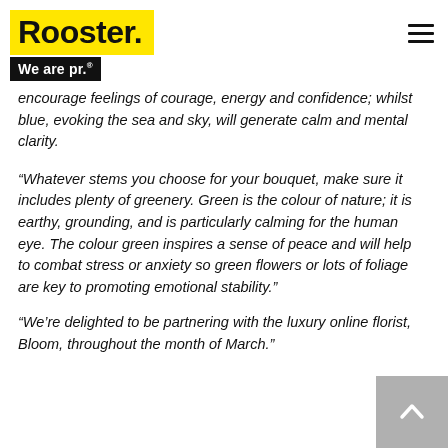Rooster. We are pr.
encourage feelings of courage, energy and confidence; whilst blue, evoking the sea and sky, will generate calm and mental clarity.
“Whatever stems you choose for your bouquet, make sure it includes plenty of greenery. Green is the colour of nature; it is earthy, grounding, and is particularly calming for the human eye. The colour green inspires a sense of peace and will help to combat stress or anxiety so green flowers or lots of foliage are key to promoting emotional stability.”
“We’re delighted to be partnering with the luxury online florist, Bloom, throughout the month of March.”